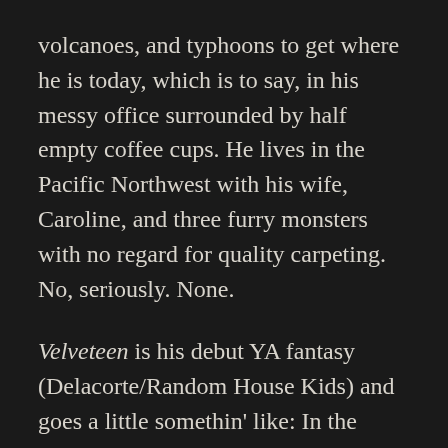volcanoes, and typhoons to get where he is today, which is to say, in his messy office surrounded by half empty coffee cups. He lives in the Pacific Northwest with his wife, Caroline, and three furry monsters with no regard for quality carpeting. No, seriously. None.
Velveteen is his debut YA fantasy (Delacorte/Random House Kids) and goes a little somethin' like: In the midst of a purgatory-shattering uprising, a soul-retriever must juggle her responsibilities to her team, her self, and the future victims of the psycho that killed her—not to mention a newly deceased (and very hot)